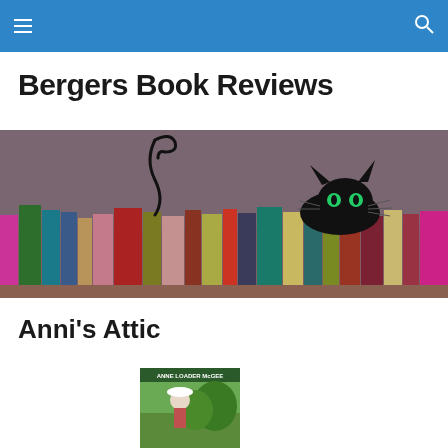Navigation bar with hamburger menu and search icon
Bergers Book Reviews
[Figure (illustration): Illustration of colorful books lined up on a shelf with a black cat with green eyes peeking over the tops of the books against a dark mauve background. A curled cat tail is visible on the left side.]
Anni's Attic
[Figure (photo): Book cover for a book by Anne Loader McGee, showing a person in a white hat near trees, with the author name at the top.]